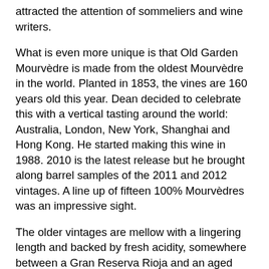attracted the attention of sommeliers and wine writers.
What is even more unique is that Old Garden Mourvèdre is made from the oldest Mourvèdre in the world. Planted in 1853, the vines are 160 years old this year. Dean decided to celebrate this with a vertical tasting around the world: Australia, London, New York, Shanghai and Hong Kong. He started making this wine in 1988. 2010 is the latest release but he brought along barrel samples of the 2011 and 2012 vintages. A line up of fifteen 100% Mourvèdres was an impressive sight.
The older vintages are mellow with a lingering length and backed by fresh acidity, somewhere between a Gran Reserva Rioja and an aged Barolo, while the younger ones are concentrated, spicy, and surprisingly elegant at over 14% alcohol. The finesse comes from a combination of factors: the age of the vines, the soil and the climate.
Mourvèdre is a late ripener and therefore ideal in hot climates as it only ripens by the beginning of autumn rather than in the heat of summer, thereby retaining acidity with a